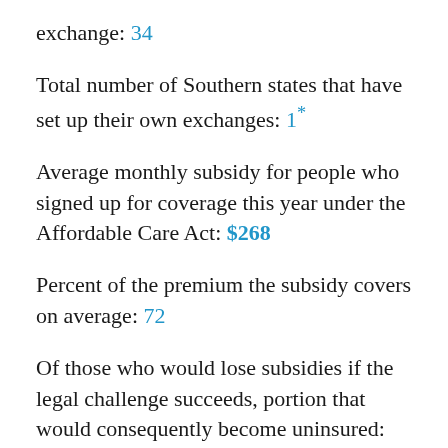exchange: 34
Total number of Southern states that have set up their own exchanges: 1*
Average monthly subsidy for people who signed up for coverage this year under the Affordable Care Act: $268
Percent of the premium the subsidy covers on average: 72
Of those who would lose subsidies if the legal challenge succeeds, portion that would consequently become uninsured: 2/3
Percent of those who would become uninsured